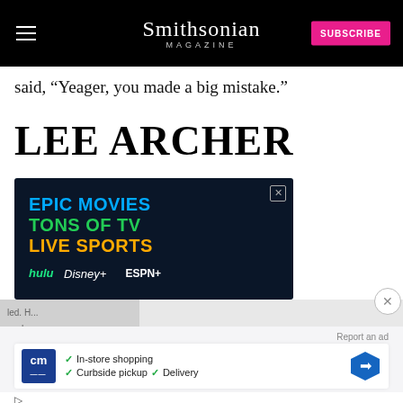Smithsonian MAGAZINE
said, “Yeager, you made a big mistake.”
LEE ARCHER
[Figure (infographic): Advertisement banner: EPIC MOVIES / TONS OF TV / LIVE SPORTS with Hulu, Disney+, ESPN+ logos on dark blue background]
Report an ad
[Figure (infographic): Advertisement for CM with checkmarks: In-store shopping, Curbside pickup, Delivery and a map/navigation icon]